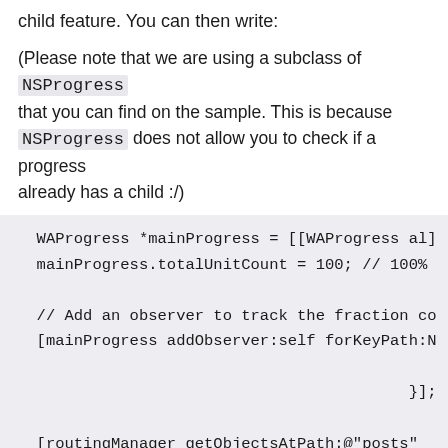child feature. You can then write:
(Please note that we are using a subclass of NSProgress that you can find on the sample. This is because NSProgress does not allow you to check if a progress already has a child :/)
WAProgress *mainProgress = [[WAProgress al]
mainProgress.totalUnitCount = 100; // 100%

// Add an observer to track the fraction co
[mainProgress addObserver:self forKeyPath:N

                                        }];

[routingManager getObjectsAtPath:@"posts"
                        parameters:nil
                          progress:^(WAObject
                         //Addth